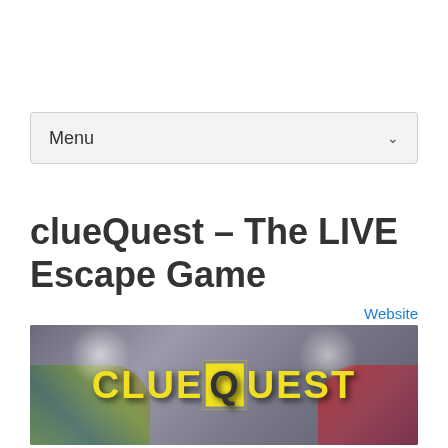Menu
clueQuest – The LIVE Escape Game
Website
[Figure (photo): ClueQuest banner image showing the clueQuest logo in yellow letters on a graffiti-covered background with spotlights]